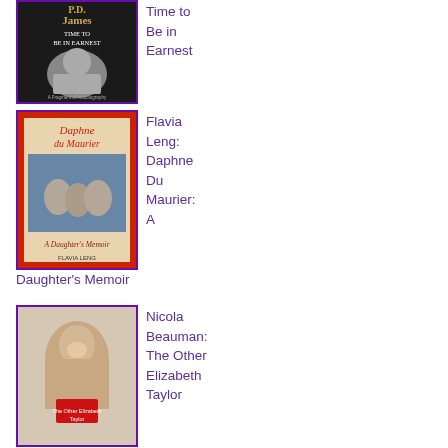[Figure (photo): Book cover of P.D. James: Time to Be in Earnest, black and white photo of an elderly woman]
Time to Be in Earnest
[Figure (photo): Book cover of Daphne du Maurier: A Daughter's Memoir by Flavia Leng, shows old photograph of women outdoors]
Flavia Leng: Daphne Du Maurier: A Daughter's Memoir
Daughter's Memoir
[Figure (photo): Book cover of The Other Elizabeth Taylor by Nicola Beauman, shows close-up portrait of a woman]
Nicola Beauman: The Other Elizabeth Taylor